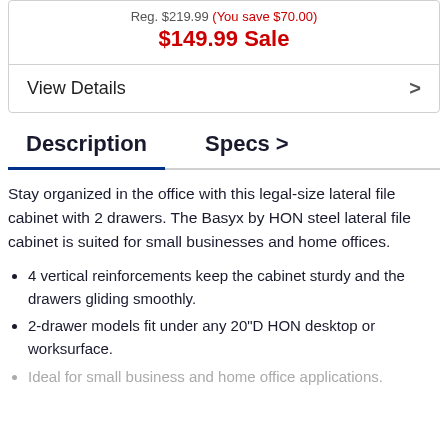Reg. $219.99 (You save $70.00)
$149.99 Sale
View Details
Description
Specs
Stay organized in the office with this legal-size lateral file cabinet with 2 drawers. The Basyx by HON steel lateral file cabinet is suited for small businesses and home offices.
4 vertical reinforcements keep the cabinet sturdy and the drawers gliding smoothly.
2-drawer models fit under any 20"D HON desktop or worksurface.
Ideal for small business and home office applications.